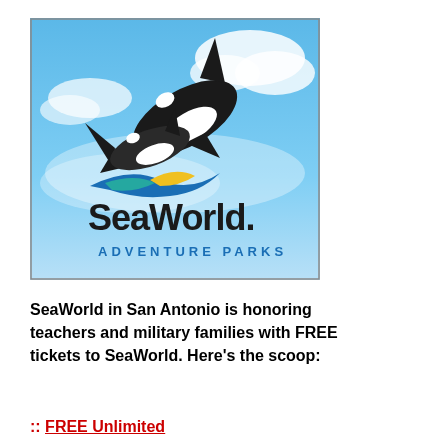[Figure (logo): SeaWorld Adventure Parks logo with orca whale jumping out of water against blue sky and clouds, with the SeaWorld wordmark and 'ADVENTURE PARKS' text below.]
SeaWorld in San Antonio is honoring teachers and military families with FREE tickets to SeaWorld.  Here's the scoop:
:: FREE Unlimited Admission Teacher Tickets for...